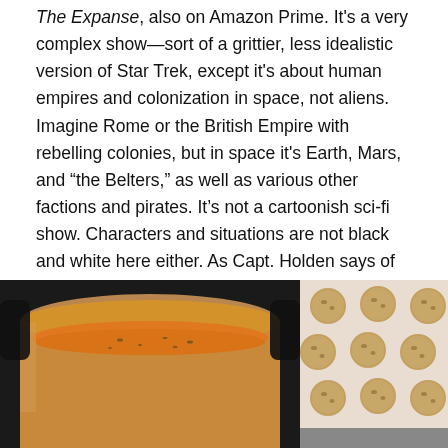The Expanse, also on Amazon Prime. It's a very complex show—sort of a grittier, less idealistic version of Star Trek, except it's about human empires and colonization in space, not aliens. Imagine Rome or the British Empire with rebelling colonies, but in space it's Earth, Mars, and "the Belters," as well as various other factions and pirates. It's not a cartoonish sci-fi show. Characters and situations are not black and white here either. As Capt. Holden says of his world-weary crew, we've all done things we regret. (Yet we still root for them and their ship, the Rocinante.)
I'm hosting Quadrille Monday at dVerse, so I'll be back later today! Cold weather comfort food below. Enjoy!
[Figure (photo): A pot of orange/red soup or stew on a stove, photographed from above.]
[Figure (photo): Cookies or baked rounds on a parchment-lined baking sheet, partially visible.]